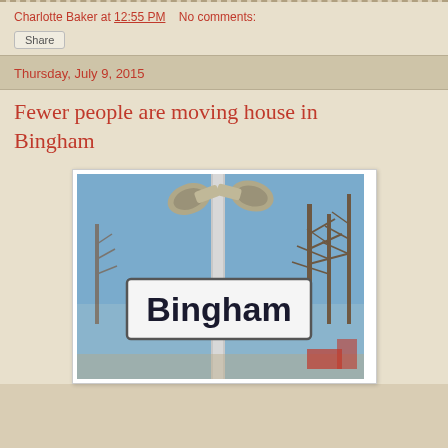Charlotte Baker at 12:55 PM   No comments:
Share
Thursday, July 9, 2015
Fewer people are moving house in Bingham
[Figure (photo): A photo of a Bingham railway or street station sign mounted on a pole with two loudspeakers on top, blue sky and bare trees in the background]